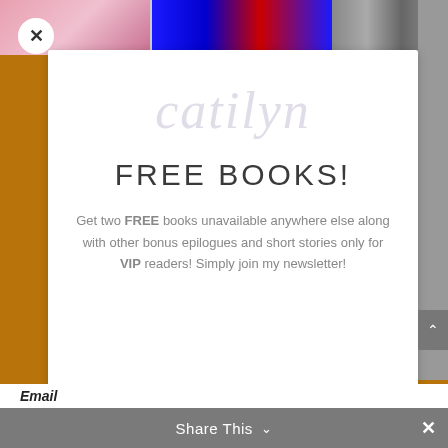[Figure (screenshot): Website screenshot showing a popup modal over a blurred webpage background. The modal has a white card with watermark text, a FREE BOOKS! heading, descriptive text about a newsletter signup, a close button, and a Share This bar at the bottom.]
FREE BOOKS!
Get two FREE books unavailable anywhere else along with other bonus epilogues and short stories only for VIP readers! Simply join my newsletter!
Share This